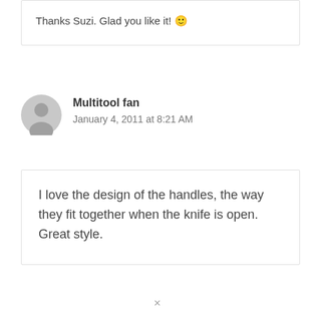Thanks Suzi. Glad you like it! 🙂
Multitool fan
January 4, 2011 at 8:21 AM
I love the design of the handles, the way they fit together when the knife is open. Great style.